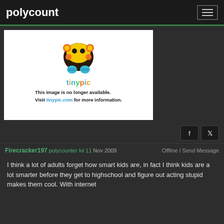polycount
[Figure (screenshot): Tinypic placeholder image showing cartoon mascot and text 'This image is no longer available. Visit tinypic.com for more information.']
Firecracker197  polycounter lvl 11  Nov 2009    Offline / Send Message
I think a lot of adults forget how smart kids are, in fact I think kids are a lot smarter before they get to highschool and figure out acting stupid makes them cool. With internet